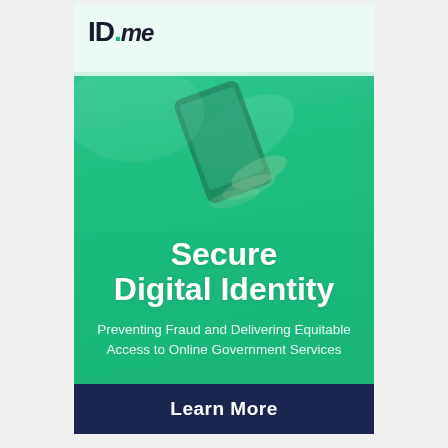[Figure (logo): ID.me logo in top left of card, black bold text with green dot]
[Figure (photo): Hand holding a smartphone, teal/green color overlay on photo background]
Secure Digital Identity
Preventing Fraud and Delivering Equitable Access to Online Government Services
Learn More